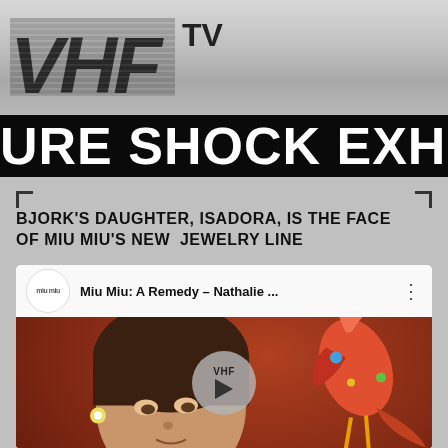[Figure (logo): VHF TV logo in large bold italic text on metallic silver background]
URE SHOCK EXHIB
BJORK'S DAUGHTER, ISADORA, IS THE FACE OF MIU MIU'S NEW JEWELRY LINE
[Figure (screenshot): YouTube video embed showing Miu Miu: A Remedy – Nathalie ... with VHF play button overlay and image of young woman with jewelry and colorful bird]